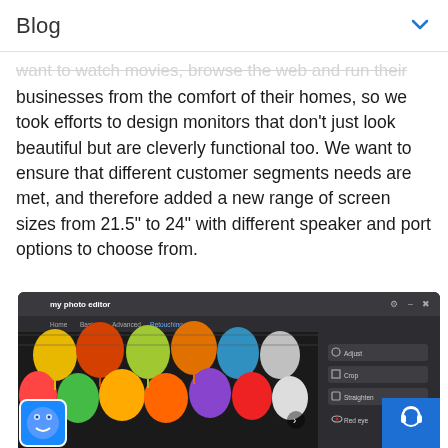Blog
want to watch movies, browse the web and run their businesses from the comfort of their homes, so we took efforts to design monitors that don't just look beautiful but are cleverly functional too. We want to ensure that different customer segments needs are met, and therefore added a new range of screen sizes from 21.5" to 24" with different speaker and port options to choose from.
[Figure (screenshot): A monitor showing a photo editing application called 'my photo editor' displaying colorful Asian paper lanterns. The interface has a dark theme with navigation tabs (Home, Basics, Advanced, Retouching), a right panel with editing tools (Adjust, Crop, Straighten, Red eye), navigation arrows, a blue cookie/logo icon at the bottom left, and a blue support button at the bottom right.]